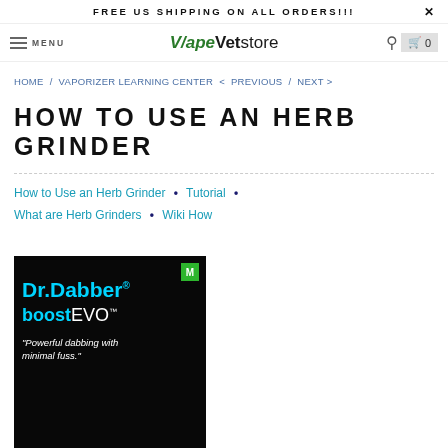FREE US SHIPPING ON ALL ORDERS!!!
VapeVet store — MENU | Cart 0
HOME / VAPORIZER LEARNING CENTER < PREVIOUS / NEXT >
HOW TO USE AN HERB GRINDER
How to Use an Herb Grinder • Tutorial •
What are Herb Grinders • Wiki How
[Figure (photo): Dr. Dabber boost evo advertisement on dark background. Text: Dr.Dabber® boostevo™ 'Powerful dabbing with minimal fuss.']